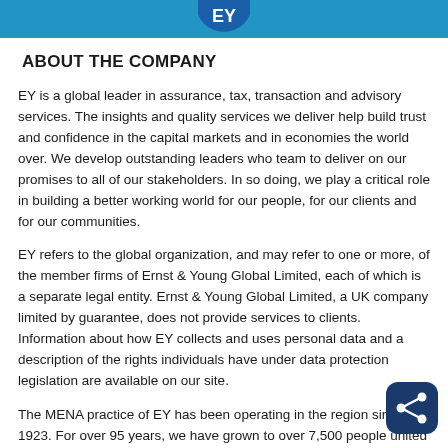EY logo header bar
ABOUT THE COMPANY
EY is a global leader in assurance, tax, transaction and advisory services. The insights and quality services we deliver help build trust and confidence in the capital markets and in economies the world over. We develop outstanding leaders who team to deliver on our promises to all of our stakeholders. In so doing, we play a critical role in building a better working world for our people, for our clients and for our communities.
EY refers to the global organization, and may refer to one or more, of the member firms of Ernst & Young Global Limited, each of which is a separate legal entity. Ernst & Young Global Limited, a UK company limited by guarantee, does not provide services to clients. Information about how EY collects and uses personal data and a description of the rights individuals have under data protection legislation are available on our site.
The MENA practice of EY has been operating in the region since 1923. For over 95 years, we have grown to over 7,500 people united across 21 offices and 16 countries, sharing the same values and unwavering commitment to quality. As an organization, we continue